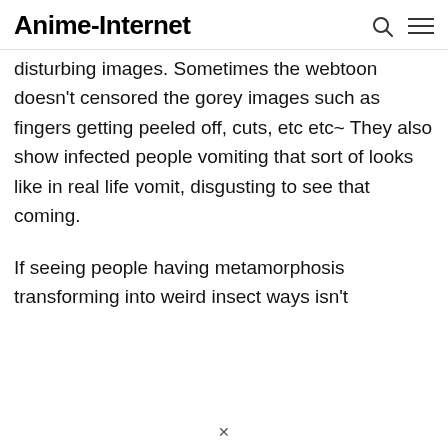Anime-Internet
disturbing images. Sometimes the webtoon doesn't censored the gorey images such as fingers getting peeled off, cuts, etc etc~ They also show infected people vomiting that sort of looks like in real life vomit, disgusting to see that coming.
If seeing people having metamorphosis transforming into weird insect ways isn't